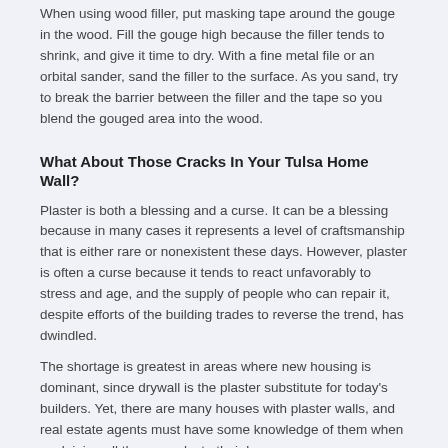When using wood filler, put masking tape around the gouge in the wood. Fill the gouge high because the filler tends to shrink, and give it time to dry. With a fine metal file or an orbital sander, sand the filler to the surface. As you sand, try to break the barrier between the filler and the tape so you blend the gouged area into the wood.
What About Those Cracks In Your Tulsa Home Wall?
Plaster is both a blessing and a curse. It can be a blessing because in many cases it represents a level of craftsmanship that is either rare or nonexistent these days. However, plaster is often a curse because it tends to react unfavorably to stress and age, and the supply of people who can repair it, despite efforts of the building trades to reverse the trend, has dwindled.
The shortage is greatest in areas where new housing is dominant, since drywall is the plaster substitute for today's builders. Yet, there are many houses with plaster walls, and real estate agents must have some knowledge of them when explaining all those cracks to their buyers.